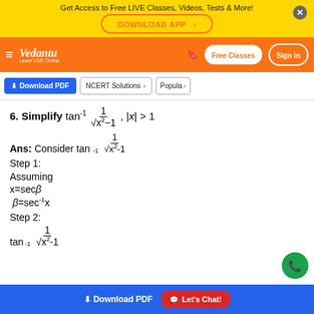Get Access to Free LIVE Classes, Videos, Tests & More! DOWNLOAD APP
[Figure (logo): Vedantu Learn LIVE Online logo in white on orange navbar with Free Classes and Sign in buttons]
Download PDF | NCERT Solutions > | Popular >
Ans: Consider tan^{-1} 1/sqrt(x^2-1)
Step 1:
Assuming
Step 2:
Download PDF   Let's Chat!